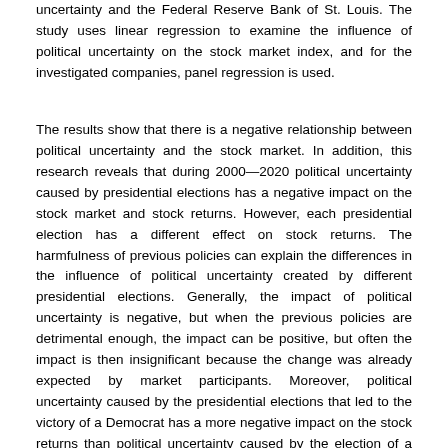uncertainty and the Federal Reserve Bank of St. Louis. The study uses linear regression to examine the influence of political uncertainty on the stock market index, and for the investigated companies, panel regression is used.
The results show that there is a negative relationship between political uncertainty and the stock market. In addition, this research reveals that during 2000—2020 political uncertainty caused by presidential elections has a negative impact on the stock market and stock returns. However, each presidential election has a different effect on stock returns. The harmfulness of previous policies can explain the differences in the influence of political uncertainty created by different presidential elections. Generally, the impact of political uncertainty is negative, but when the previous policies are detrimental enough, the impact can be positive, but often the impact is then insignificant because the change was already expected by market participants. Moreover, political uncertainty caused by the presidential elections that led to the victory of a Democrat has a more negative impact on the stock returns than political uncertainty caused by the election of a Republican candidate because the Republican party is seen as a party that is more in favour of business. Furthermore, different companies are impacted by political uncertainty differently. Larger